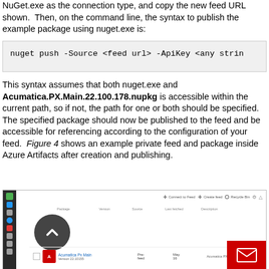NuGet.exe as the connection type, and copy the new feed URL shown.  Then, on the command line, the syntax to publish the example package using nuget.exe is:
This syntax assumes that both nuget.exe and Acumatica.PX.Main.22.100.178.nupkg is accessible within the current path, so if not, the path for one or both should be specified.  The specified package should now be published to the feed and be accessible for referencing according to the configuration of your feed.  Figure 4 shows an example private feed and package inside Azure Artifacts after creation and publishing.
[Figure (screenshot): Screenshot of Azure Artifacts interface showing a private feed named 'Acumatica Px Main' version 22.10155 with columns for Package, Version, Source, Last Fetched, and Description. A dark circle with upward chevron icon is visible. A red email button appears in the bottom right corner.]